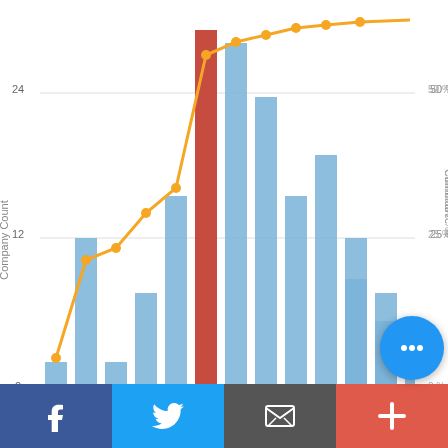[Figure (histogram): 3-Year Dividend Growth Rate Distribution]
GuruFocus.com
3-Year Dividend Growth Rate Sector Distribution
[Figure (histogram): 3-Year Dividend Growth Rate Sector Distribution]